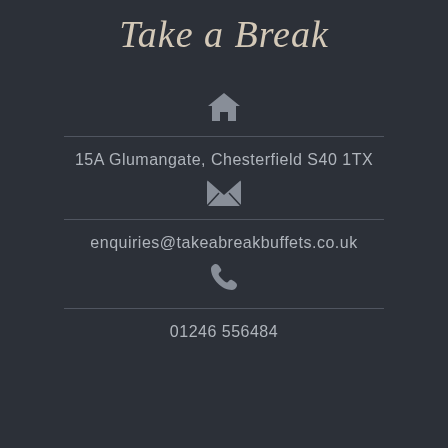Take a Break
[Figure (illustration): House/home icon in grey]
15A Glumangate, Chesterfield S40 1TX
[Figure (illustration): Envelope/email icon in grey]
enquiries@takeabreakbuffets.co.uk
[Figure (illustration): Phone/telephone icon in grey]
01246 556484